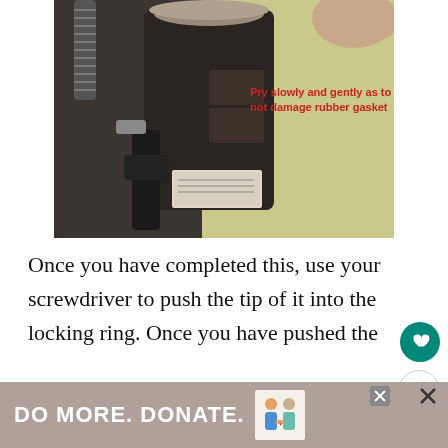[Figure (photo): Photograph of a garbage disposal unit mounted under a sink, with hoses and pipes visible. A hand is partially seen at the top right. Red annotation text overlaid on the photo reads: 'Pry slowly and gently as to not damage rubber gasket'.]
Once you have completed this, use your screwdriver to push the tip of it into the locking ring. Once you have pushed the of your screwdriver in, you'll now want to